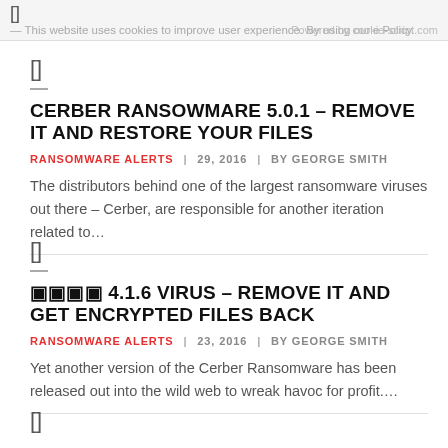This website uses cookies to improve user experience. By using our [Policy] Powered by cookie-script.com
[Figure (other): Thumbnail image placeholder icon (square bracket symbol)]
CERBER RANSOWMARE 5.0.1 – REMOVE IT AND RESTORE YOUR FILES
RANSOMWARE ALERTS | 29, 2016 | BY GEORGE SMITH
The distributors behind one of the largest ransomware viruses out there – Cerber, are responsible for another iteration related to…
[Figure (other): Thumbnail image placeholder icon (square bracket symbol)]
🔲🔲🔲🔲 4.1.6 VIRUS – REMOVE IT AND GET ENCRYPTED FILES BACK
RANSOMWARE ALERTS | 23, 2016 | BY GEORGE SMITH
Yet another version of the Cerber Ransomware has been released out into the wild web to wreak havoc for profit.…
[Figure (other): Thumbnail image placeholder icon (square bracket symbol)]